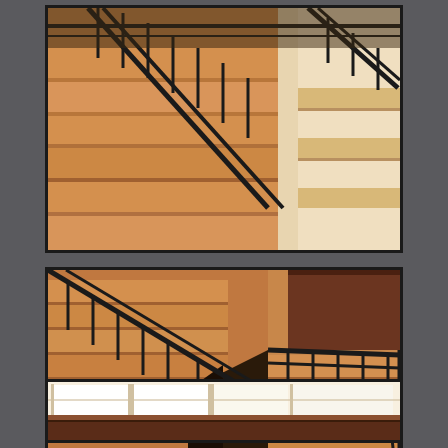[Figure (photo): Close-up view of wooden staircase steps with black metal/iron railing and balusters, warm amber/orange wood tones, viewed from above at an angle]
[Figure (photo): Overhead bird's-eye view of staircase with black iron railing/balusters and warm wood steps, showing the full stair configuration from top down, with some equipment/materials visible at the bottom]
[Figure (photo): Interior view of windows with white frames and dark wood trim/wainscoting below, bright natural light coming through multiple window panes]